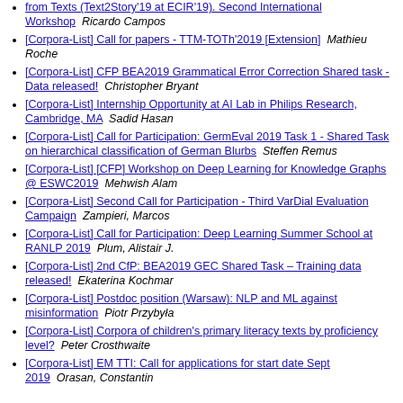from Texts (Text2Story'19 at ECIR'19). Second International Workshop   Ricardo Campos
[Corpora-List] Call for papers - TTM-TOTh'2019 [Extension]   Mathieu Roche
[Corpora-List] CFP BEA2019 Grammatical Error Correction Shared task - Data released!   Christopher Bryant
[Corpora-List] Internship Opportunity at AI Lab in Philips Research, Cambridge, MA   Sadid Hasan
[Corpora-List] Call for Participation: GermEval 2019 Task 1 - Shared Task on hierarchical classification of German Blurbs   Steffen Remus
[Corpora-List] [CFP] Workshop on Deep Learning for Knowledge Graphs @ ESWC2019   Mehwish Alam
[Corpora-List] Second Call for Participation - Third VarDial Evaluation Campaign   Zampieri, Marcos
[Corpora-List] Call for Participation: Deep Learning Summer School at RANLP 2019   Plum, Alistair J.
[Corpora-List] 2nd CfP: BEA2019 GEC Shared Task – Training data released!   Ekaterina Kochmar
[Corpora-List] Postdoc position (Warsaw): NLP and ML against misinformation   Piotr Przybyła
[Corpora-List] Corpora of children's primary literacy texts by proficiency level?   Peter Crosthwaite
[Corpora-List] EM TTI: Call for applications for start date Sept 2019   Orasan, Constantin